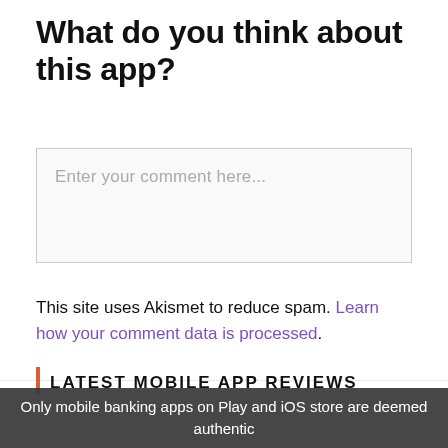What do you think about this app?
Enter your comment here...
This site uses Akismet to reduce spam. Learn how your comment data is processed.
LATEST MOBILE APP REVIEWS
Only mobile banking apps on Play and iOS store are deemed authentic